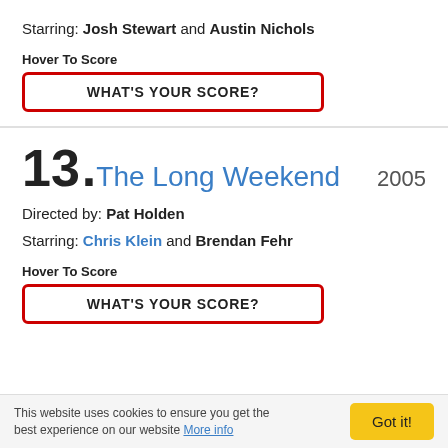Starring: Josh Stewart and Austin Nichols
Hover To Score
WHAT'S YOUR SCORE?
13. The Long Weekend 2005
Directed by: Pat Holden
Starring: Chris Klein and Brendan Fehr
Hover To Score
WHAT'S YOUR SCORE?
This website uses cookies to ensure you get the best experience on our website More info
Got it!